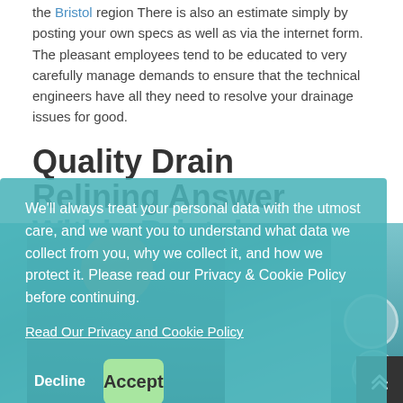the Bristol region There is also an estimate simply by posting your own specs as well as via the internet form. The pleasant employees tend to be educated to very carefully manage demands to ensure that the technical engineers have all they need to resolve your drainage issues for good.
Quality Drain Relining Answer Within Bristol
[Figure (photo): A worker/engineer in workwear, overlaid with a teal/green cookie consent banner. Bottom right shows plumbing or pipe equipment.]
We'll always treat your personal data with the utmost care, and we want you to understand what data we collect from you, why we collect it, and how we protect it. Please read our Privacy & Cookie Policy before continuing.
Read Our Privacy and Cookie Policy
Decline
Accept